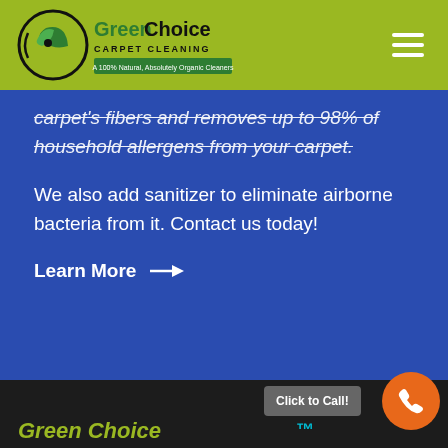[Figure (logo): GreenChoice Carpet Cleaning logo — circular leaf icon with 'GreenChoice' in large text and 'CARPET CLEANING / A 100% Natural, Absolutely Organic Cleaners' tagline on olive/green background]
carpet's fibers and removes up to 98% of household allergens from your carpet.
We also add sanitizer to eliminate airborne bacteria from it. Contact us today!
Learn More →
[Figure (other): Click to Call button and orange phone icon circle button in dark footer area]
Green Choice  ™